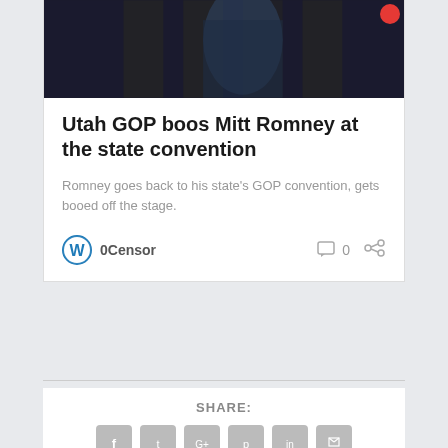[Figure (photo): Dark photo of a person in formal attire, likely in a hallway or corridor with wooden paneling]
Utah GOP boos Mitt Romney at the state convention
Romney goes back to his state's GOP convention, gets booed off the stage.
0Censor
SHARE: